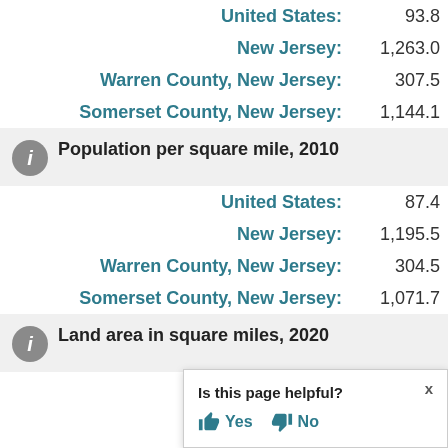| Location | Value |
| --- | --- |
| United States: | 93.8 |
| New Jersey: | 1,263.0 |
| Warren County, New Jersey: | 307.5 |
| Somerset County, New Jersey: | 1,144.1 |
Population per square mile, 2010
| Location | Value |
| --- | --- |
| United States: | 87.4 |
| New Jersey: | 1,195.5 |
| Warren County, New Jersey: | 304.5 |
| Somerset County, New Jersey: | 1,071.7 |
Land area in square miles, 2020
| Location | Value |
| --- | --- |
| United States: | 3,533,038.28 |
| New Jersey: | 7,354.76 |
| Warren County, | (partially visible) |
| Somerset County, | (partially visible) |